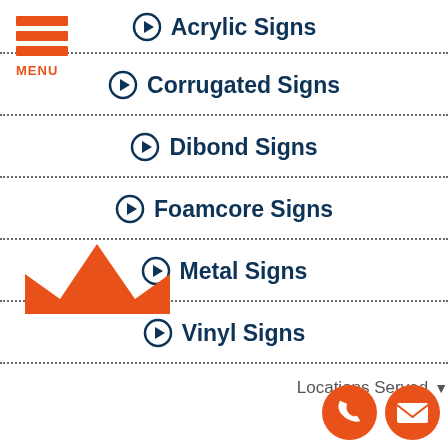Acrylic Signs
Corrugated Signs
Dibond Signs
Foamcore Signs
Metal Signs
Vinyl Signs
Locations Served
[Figure (logo): Orange crown logo icon]
[Figure (illustration): Orange phone contact icon circle and orange email envelope icon circle]